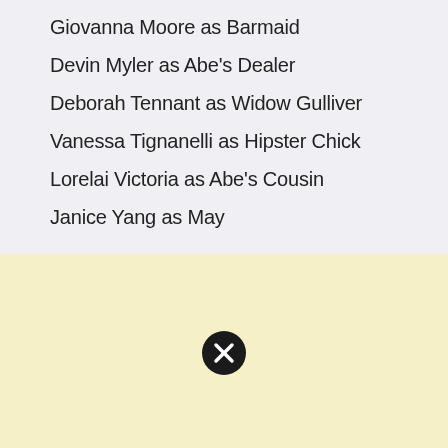Giovanna Moore as Barmaid
Devin Myler as Abe's Dealer
Deborah Tennant as Widow Gulliver
Vanessa Tignanelli as Hipster Chick
Lorelai Victoria as Abe's Cousin
Janice Yang as May
[Figure (other): Yellow/cream background section with a black circle close/cancel icon (X) in the center, and a red rectangle in the bottom-right corner.]